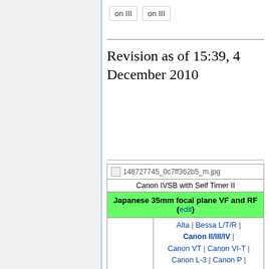on III | on III
Revision as of 15:39, 4 December 2010
| 148727745_0c7ff362b5_m.jpg |
| Canon IVSB with Self Timer II |
| Japanese 35mm focal plane VF and RF (edit) |
| Leica screw mount | Alta | Bessa L/T/R | Canon II/III/IV | Canon VT | Canon VI-T | Canon L-3 | Canon P | Canon 7 | Canon 7s | Chiyoca | Chiyotax | Honor S1 | Honor SL | Ichicon-35 | Jeicy | Konica FR | Leotax | Leotax G | Melcon | Melcon II | Minolta 35 | |